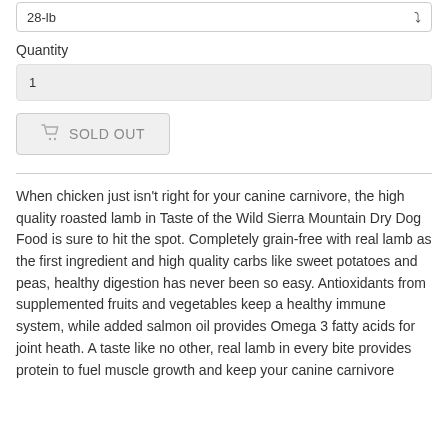28-lb
Quantity
1
SOLD OUT
When chicken just isn't right for your canine carnivore, the high quality roasted lamb in Taste of the Wild Sierra Mountain Dry Dog Food is sure to hit the spot. Completely grain-free with real lamb as the first ingredient and high quality carbs like sweet potatoes and peas, healthy digestion has never been so easy. Antioxidants from supplemented fruits and vegetables keep a healthy immune system, while added salmon oil provides Omega 3 fatty acids for joint heath. A taste like no other, real lamb in every bite provides protein to fuel muscle growth and keep your canine carnivore